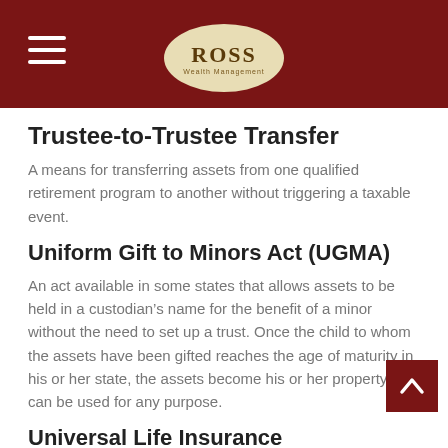ROSS Wealth Management
Trustee-to-Trustee Transfer
A means for transferring assets from one qualified retirement program to another without triggering a taxable event.
Uniform Gift to Minors Act (UGMA)
An act available in some states that allows assets to be held in a custodian’s name for the benefit of a minor without the need to set up a trust. Once the child to whom the assets have been gifted reaches the age of maturity in his or her state, the assets become his or her property and can be used for any purpose.
Universal Life Insurance
Permanent life insurance that allows the policyholder to